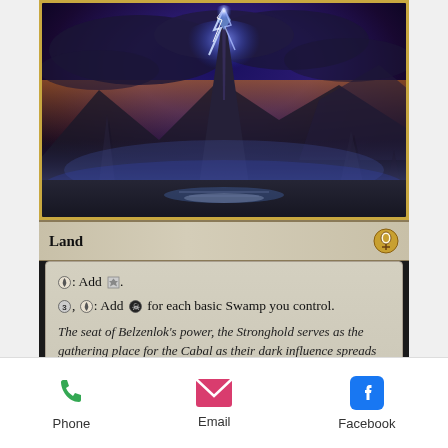[Figure (illustration): Magic: The Gathering card - Cabal Stronghold land card. Top portion shows fantasy dark art of a spire/stronghold with lightning and stormy skies. Card type line reads 'Land' with legendary planeswalker symbol. Text box shows abilities: T: Add C. 3, T: Add B for each basic Swamp you control. Flavor text: The seat of Belzenlok's power, the Stronghold serves as the gathering place for the Cabal as their dark influence spreads from Urb... Card number 238/269 R, DOM-EN, art by Dimitar Marinski.]
[Figure (screenshot): Mobile app bottom toolbar with three icons: Phone (green), Email (pink/red envelope), Facebook (blue f icon), with labels below each.]
Phone
Email
Facebook